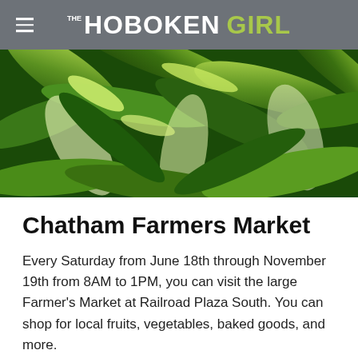THE HOBOKEN GIRL
[Figure (photo): Close-up photo of fresh corn on the cob with green husks, showing multiple ears of corn packed together]
Chatham Farmers Market
Every Saturday from June 18th through November 19th from 8AM to 1PM, you can visit the large Farmer’s Market at Railroad Plaza South. You can shop for local fruits, vegetables, baked goods, and more.